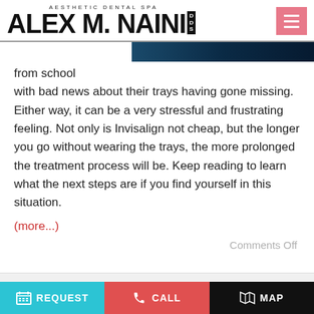AESTHETIC DENTAL SPA — ALEX M. NAINI DDS
[Figure (screenshot): Dark blue gradient banner image strip at top of content area]
from school with bad news about their trays having gone missing. Either way, it can be a very stressful and frustrating feeling. Not only is Invisalign not cheap, but the longer you go without wearing the trays, the more prolonged the treatment process will be. Keep reading to learn what the next steps are if you find yourself in this situation.
(more...)
Comments Off
REQUEST | CALL | MAP